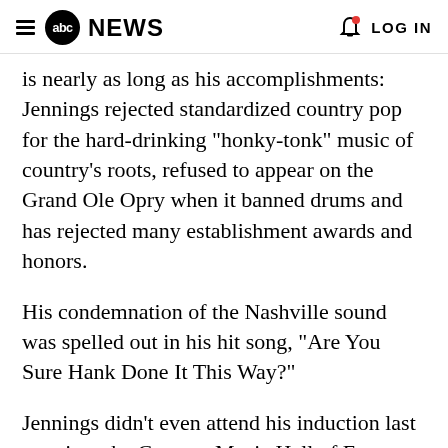abc NEWS  LOG IN
is nearly as long as his accomplishments: Jennings rejected standardized country pop for the hard-drinking "honky-tonk" music of country's roots, refused to appear on the Grand Ole Opry when it banned drums and has rejected many establishment awards and honors.
His condemnation of the Nashville sound was spelled out in his hit song, "Are You Sure Hank Done It This Way?"
Jennings didn't even attend his induction last year into the Country Music Hall of Fame. Officially, he was sick. But the whispers said